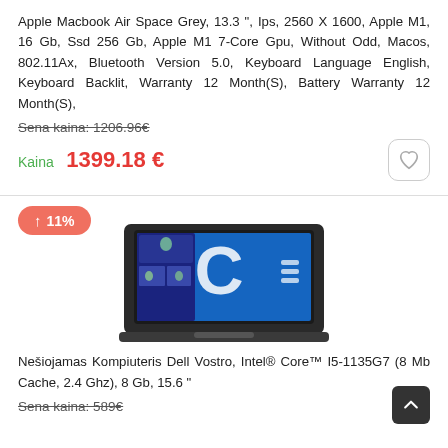Apple Macbook Air Space Grey, 13.3 ", Ips, 2560 X 1600, Apple M1, 16 Gb, Ssd 256 Gb, Apple M1 7-Core Gpu, Without Odd, Macos, 802.11Ax, Bluetooth Version 5.0, Keyboard Language English, Keyboard Backlit, Warranty 12 Month(S), Battery Warranty 12 Month(S),
Sena kaina: 1206.96€
Kaina  1399.18 €
↑ 11%
[Figure (photo): Dell Vostro laptop showing a blue screen with a C logo and a video call interface]
Nešiojamas Kompiuteris Dell Vostro, Intel® Core™ I5-1135G7 (8 Mb Cache, 2.4 Ghz), 8 Gb, 15.6 "
Sena kaina: 589€